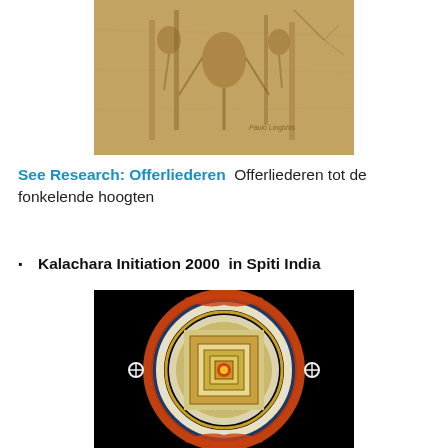[Figure (illustration): Sepia-toned historical sketch or artwork showing figures and architectural elements, with a small watermark text reading 'Paulo Lungotsis' or similar]
See Research: Offerliederen  Offerliederen tot de fonkelende hoogten
Kalachara Initiation 2000  in Spiti India
[Figure (illustration): Colorful circular Kalachakra mandala painting with intricate geometric and symbolic patterns on a black background, featuring concentric rings with Buddhist iconography]